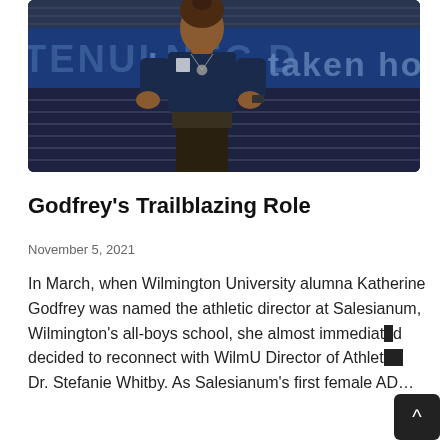[Figure (photo): A woman in a navy blue Adidas athletic polo shirt stands on a blue running track with stadium bleachers and a navy banner reading 'I have taken hold and' (partial text) in the background.]
Godfrey's Trailblazing Role
November 5, 2021
In March, when Wilmington University alumna Katherine Godfrey was named the athletic director at Salesianum, Wilmington's all-boys school, she almost immediately decided to reconnect with WilmU Director of Athletics Dr. Stefanie Whitby. As Salesianum's first female AD...